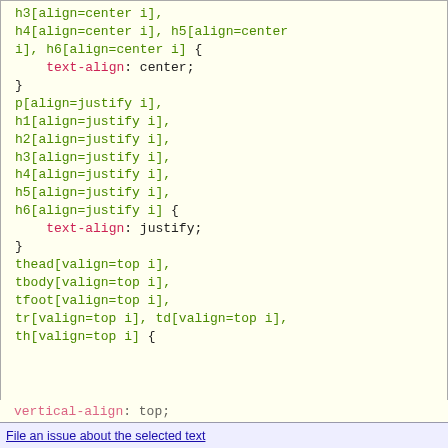h3[align=center i],
h4[align=center i], h5[align=center
i], h6[align=center i] {
    text-align: center;
}
p[align=justify i],
h1[align=justify i],
h2[align=justify i],
h3[align=justify i],
h4[align=justify i],
h5[align=justify i],
h6[align=justify i] {
    text-align: justify;
}
thead[valign=top i],
tbody[valign=top i],
tfoot[valign=top i],
tr[valign=top i], td[valign=top i],
th[valign=top i] {
    vertical-align: top;
File an issue about the selected text